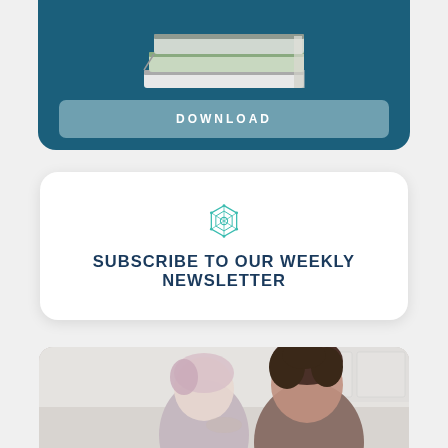[Figure (illustration): Dark teal card with a stack of books/magazines at the top and a DOWNLOAD button at the bottom]
[Figure (infographic): White rounded card with a teal geometric snowflake/mandala icon and 'SUBSCRIBE TO OUR WEEKLY NEWSLETTER' text in dark navy bold uppercase]
[Figure (photo): Photo of two people, a child with light/pink hair and an adult woman with dark curly hair, looking down together, in a kitchen setting]